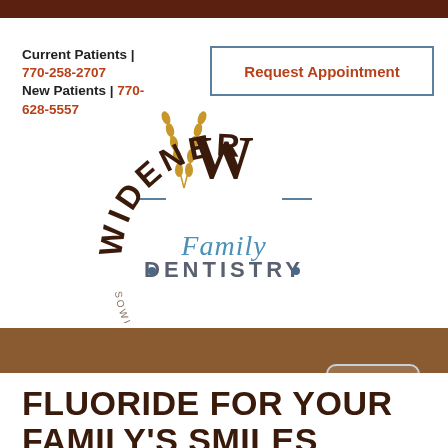Current Patients | 770-258-2707
New Patients | 770-628-5557
Request Appointment
[Figure (logo): Widener Family Dentistry logo with wheat stalks, decorative W monogram, and tagline 'Sowing the Seeds of Care']
Menu
FLUORIDE FOR YOUR FAMILY'S SMILES
added on: August 15, 2019